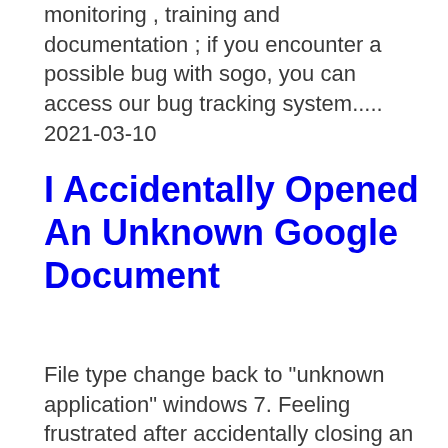monitoring , training and documentation ; if you encounter a possible bug with sogo, you can access our bug tracking system.....
2021-03-10
I Accidentally Opened An Unknown Google Document
File type change back to "unknown application" windows 7. Feeling frustrated after accidentally closing an important tab on google chrome? this quick hack will make you feel a lot